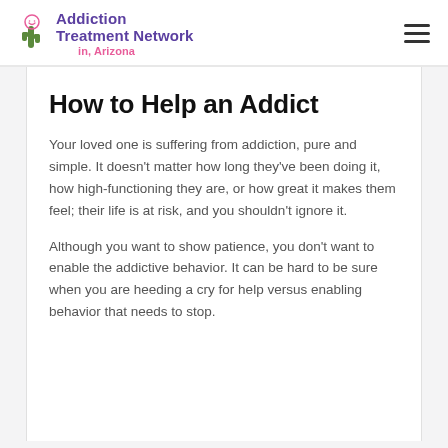Addiction Treatment Network in, Arizona
How to Help an Addict
Your loved one is suffering from addiction, pure and simple. It doesn't matter how long they've been doing it, how high-functioning they are, or how great it makes them feel; their life is at risk, and you shouldn't ignore it.
Although you want to show patience, you don't want to enable the addictive behavior. It can be hard to be sure when you are heeding a cry for help versus enabling behavior that needs to stop.